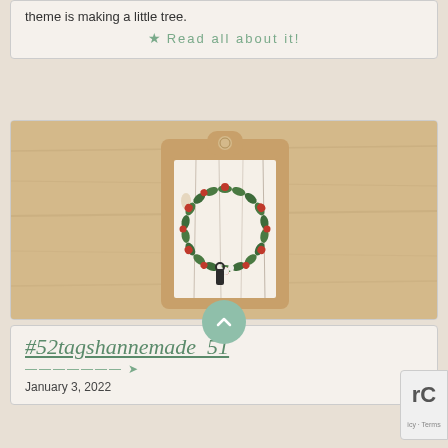theme is making a little tree.
★ Read all about it!
[Figure (photo): A handmade craft tag/ornament on a wood surface. A kraft paper tag shape with a decorative fabric or paper piece attached, featuring a painted or embroidered Christmas wreath made of holly leaves and red berries, on a rustic white wood-plank patterned background. There is a small black key or lock element near the bottom of the piece.]
#52tagshannemade_51
January 3, 2022